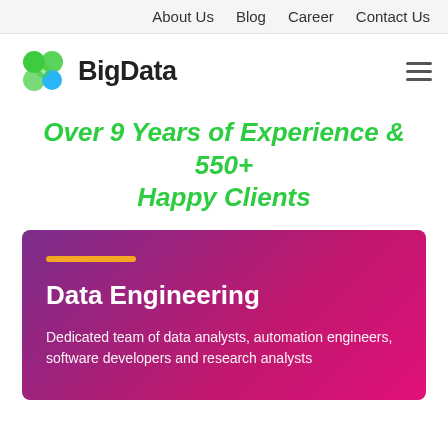About Us  Blog  Career  Contact Us
[Figure (logo): BigData logo with green and blue circular nodes graphic and BigData wordmark]
Over 9 Years of Experience & 550+ Happy Clients
Data Engineering
Dedicated team of data analysts, automation engineers, software developers and research analysts